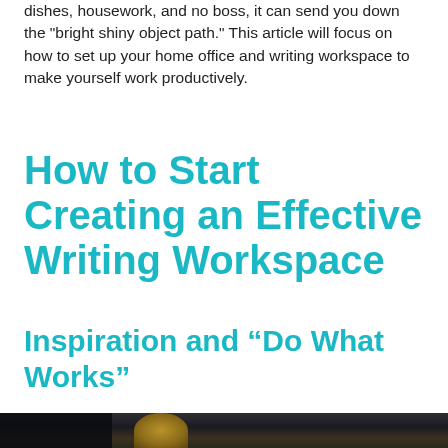dishes, housework, and no boss, it can send you down the "bright shiny object path." This article will focus on how to set up your home office and writing workspace to make yourself work productively.
How to Start Creating an Effective Writing Workspace
Inspiration and “Do What Works”
[Figure (photo): Close-up photo of mechanical typewriter gears and components with a camera strap visible, set against a light background]